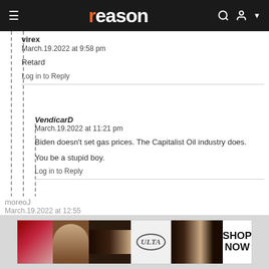reason
virex
March.19.2022 at 9:58 pm

Retard

Log in to Reply
VendicarD
March.19.2022 at 11:21 pm

Biden doesn't set gas prices. The Capitalist Oil industry does.

You be a stupid boy.

Log in to Reply
Smack Daddy
March.20.2022 at 8:26 am
Virex is right - RETARD.
[Figure (other): Ulta Beauty advertisement banner]
moreoJ
March.19.2022 at 12:55